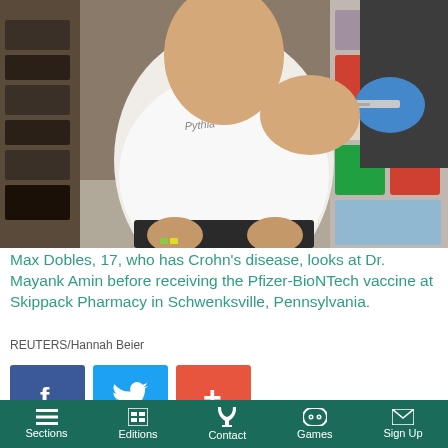[Figure (photo): A teenage boy (Max Dobles, 17) in a white t-shirt sitting in a pharmacy aisle, receiving a vaccine injection from a healthcare worker wearing blue gloves. Shelves with products are visible on both sides.]
Max Dobles, 17, who has Crohn's disease, looks at Dr. Mayank Amin before receiving the Pfizer-BioNTech vaccine at Skippack Pharmacy in Schwenksville, Pennsylvania.
REUTERS/Hannah Beier
[Figure (infographic): Social media sharing buttons: Facebook (blue, f icon), Twitter (blue, bird icon), and a plus/share button (orange-red, + icon)]
Sign up for our Daily Email newsletter to stay up-to-
Sections | Editions | Contact | Games | Sign Up